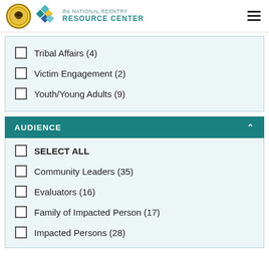the NATIONAL REENTRY RESOURCE CENTER
Tribal Affairs (4)
Victim Engagement (2)
Youth/Young Adults (9)
AUDIENCE
SELECT ALL
Community Leaders (35)
Evaluators (16)
Family of Impacted Person (17)
Impacted Persons (28)